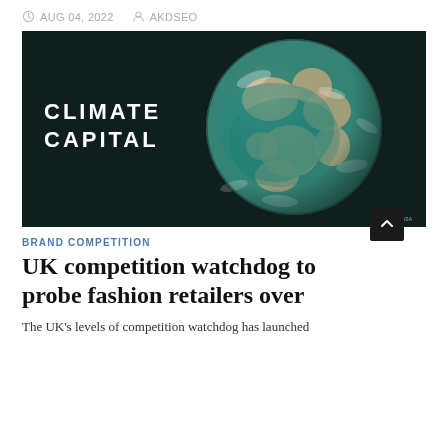AUG 04, 2022   AKDSEO
[Figure (illustration): Dark background image showing a stylized globe with teal/turquoise ocean swirls and sandy/beige landmasses. On the left side of the image, white bold text reads 'CLIMATE CAPITAL'. Small watermark text in bottom right corner.]
BRAND COMPETITION
UK competition watchdog to probe fashion retailers over
The UK's levels of competition watchdog has launched